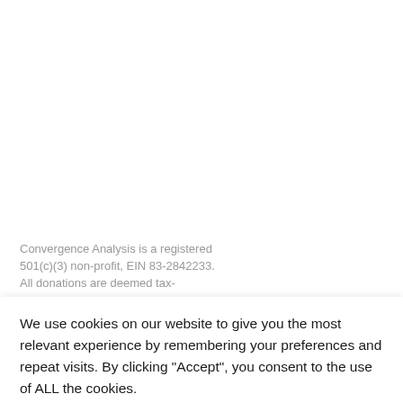Convergence Analysis is a registered 501(c)(3) non-profit, EIN 83-2842233. All donations are deemed tax-
We use cookies on our website to give you the most relevant experience by remembering your preferences and repeat visits. By clicking “Accept”, you consent to the use of ALL the cookies.
Do not sell my personal information.